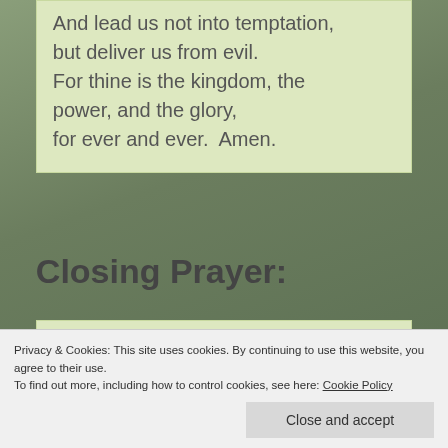And lead us not into temptation, but deliver us from evil. For thine is the kingdom, the power, and the glory, for ever and ever.  Amen.
Closing Prayer:
this night
Privacy & Cookies: This site uses cookies. By continuing to use this website, you agree to their use.
To find out more, including how to control cookies, see here: Cookie Policy
Close and accept